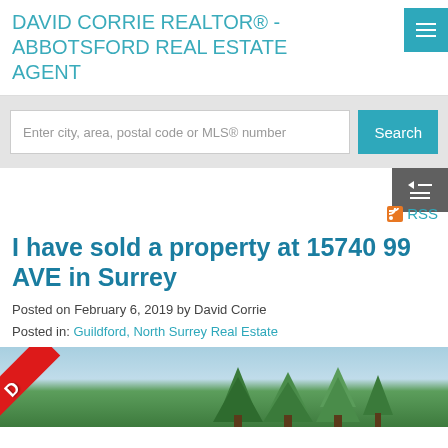DAVID CORRIE REALTOR® - ABBOTSFORD REAL ESTATE AGENT
Enter city, area, postal code or MLS® number
Search
RSS
I have sold a property at 15740 99 AVE in Surrey
Posted on February 6, 2019 by David Corrie
Posted in: Guildford, North Surrey Real Estate
[Figure (photo): Property photo with red SOLD diagonal banner overlay, showing blue sky and green trees in the background]